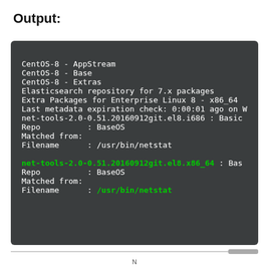Output:
[Figure (screenshot): Terminal output showing dnf/yum search results for net-tools on CentOS-8, listing repositories and package matches including net-tools-2.0-0.51.20160912git.el8.i686 and net-tools-2.0-0.51.20160912git.el8.x86_64, with filename /usr/bin/netstat highlighted in green.]